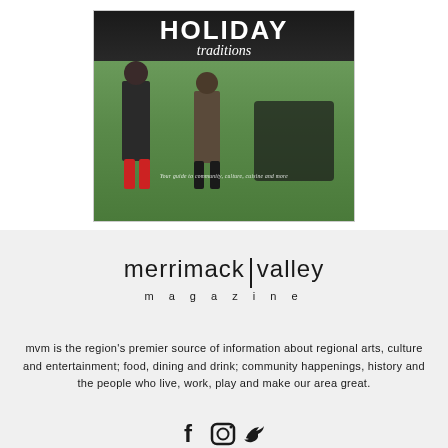[Figure (illustration): Magazine cover of Merrimack Valley Magazine showing a holiday traditions issue. Two people wearing boots stand on grass near a vehicle. Bold white 'HOLIDAY' text at top with 'traditions' in italic script below. Subtitle reads 'Your guide to community, culture, cuisine and more'.]
[Figure (logo): Merrimack Valley Magazine logo in black sans-serif lowercase type with a vertical bar divider between 'merrimack' and 'valley', and 'magazine' in spaced letters below.]
mvm is the region's premier source of information about regional arts, culture and entertainment; food, dining and drink; community happenings, history and the people who live, work, play and make our area great.
[Figure (illustration): Three social media icons: Facebook (f), Instagram (camera), and Twitter (bird) shown in black.]